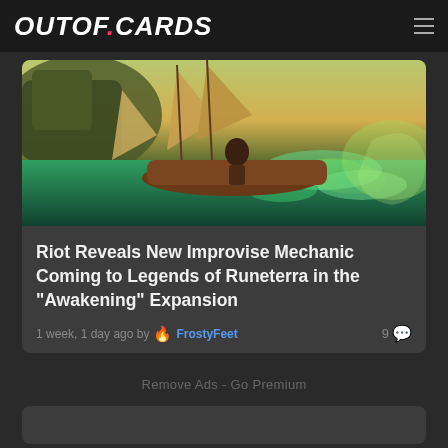OUTOF.CARDS
[Figure (illustration): Fantasy artwork showing a figure on a boat surrounded by glowing green water and magical effects, with sails and rocky cliffs in the background — Legends of Runeterra themed artwork.]
Riot Reveals New Improvise Mechanic Coming to Legends of Runeterra in the "Awakening" Expansion
1 week, 1 day ago by 🔥 FrostyFeet   9 💬
Remove Ads - Go Premium